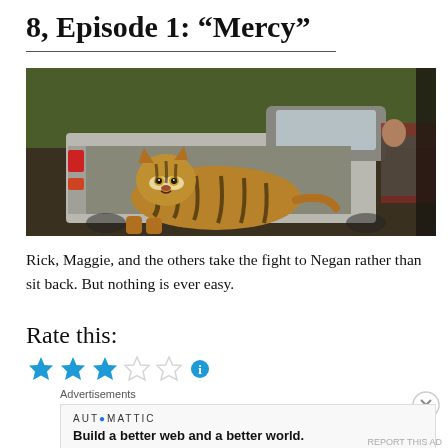8, Episode 1: “Mercy”
[Figure (photo): A tiger lying in the bed of a pickup truck, with a man visible in the background to the right, in an outdoor scene.]
Rick, Maggie, and the others take the fight to Negan rather than sit back. But nothing is ever easy.
Rate this:
[Figure (other): Star rating widget showing 3 out of 5 blue stars filled, 2 empty, with an info circle icon.]
Advertisements
AUTOMATTIC
Build a better web and a better world.